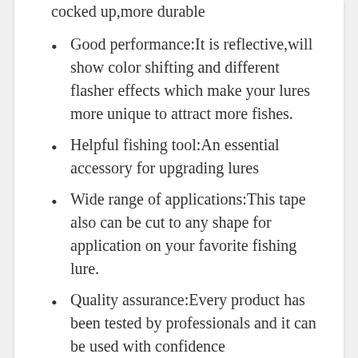cocked up,more durable
Good performance:It is reflective,will show color shifting and different flasher effects which make your lures more unique to attract more fishes.
Helpful fishing tool:An essential accessory for upgrading lures
Wide range of applications:This tape also can be cut to any shape for application on your favorite fishing lure.
Quality assurance:Every product has been tested by professionals and it can be used with confidence
[Figure (other): Amazon Buy Now button with Amazon logo 'a' icon and text 'Buy Now' on a yellow/gold rounded button]